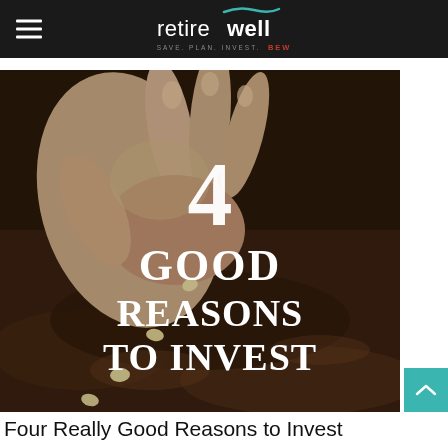retirewell — SAVE. PLAN. INVEST. — BEW
[Figure (photo): Close-up photo of a hand planting seeds into dark soil, with text overlay reading '4 GOOD REASONS TO INVEST' in large white serif font.]
Four Really Good Reasons to Invest